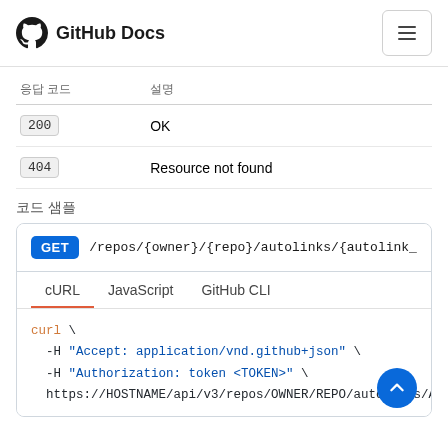GitHub Docs
| 응답 코드 | 설명 |
| --- | --- |
| 200 | OK |
| 404 | Resource not found |
코드 샘플
GET /repos/{owner}/{repo}/autolinks/{autolink_id}
cURL  JavaScript  GitHub CLI
curl \
  -H "Accept: application/vnd.github+json" \
  -H "Authorization: token <TOKEN>" \
  https://HOSTNAME/api/v3/repos/OWNER/REPO/autolinks/AUTOL